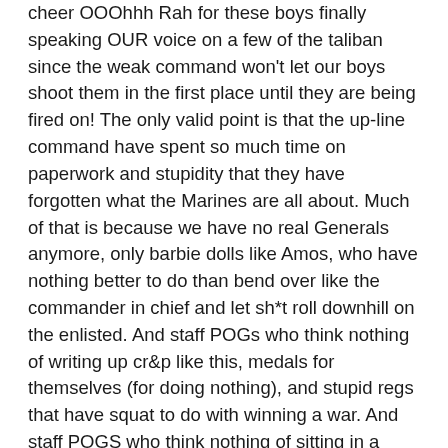cheer OOOhhh Rah for these boys finally speaking OUR voice on a few of the taliban since the weak command won't let our boys shoot them in the first place until they are being fired on! The only valid point is that the up-line command have spent so much time on paperwork and stupidity that they have forgotten what the Marines are all about. Much of that is because we have no real Generals anymore, only barbie dolls like Amos, who have nothing better to do than bend over like the commander in chief and let sh*t roll downhill on the enlisted. And staff POGs who think nothing of writing up cr&p like this, medals for themselves (for doing nothing), and stupid regs that have squat to do with winning a war. And staff POGS who think nothing of sitting in a comfy chair and writing stupid stuff like this guy's junk saying the SS logo is a nazi symbol to